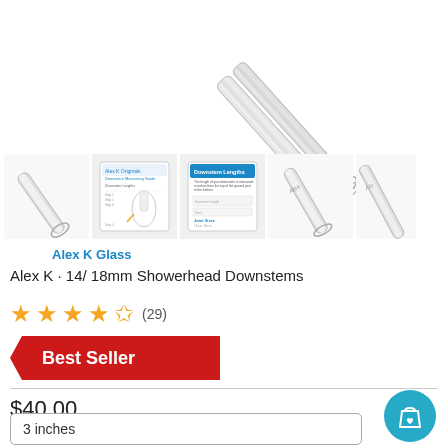[Figure (photo): Close-up of glass showerhead downstems product photos including a glass tube at top right, and a row of thumbnail images showing product guide cards and labeled glass downstem tubes.]
Alex K Glass
Alex K · 14/ 18mm Showerhead Downstems
★★★★✩ (29)
Best Seller
$40.00
3 inches